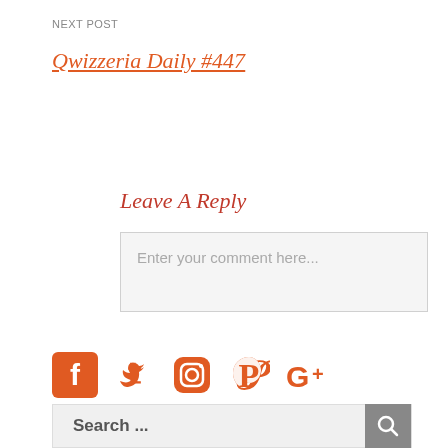NEXT POST
Qwizzeria Daily #447
Leave A Reply
Enter your comment here...
[Figure (other): Social media icons: Facebook, Twitter, Instagram, Pinterest, Google+]
Search ...